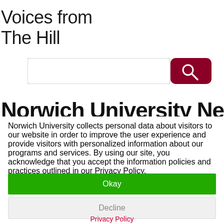[Figure (logo): Norwich University logo partial - dark red swoosh/checkmark shape in upper area]
Voices from The Hill
[Figure (other): Search bar with text input field and dark red search button with magnifying glass icon]
Norwich University News
Norwich University collects personal data about visitors to our website in order to improve the user experience and provide visitors with personalized information about our programs and services. By using our site, you acknowledge that you accept the information policies and practices outlined in our Privacy Policy.
Okay
Decline
Privacy Policy